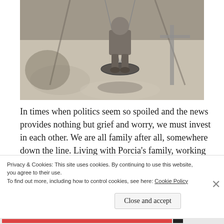[Figure (photo): Black and white photograph of a child sitting on a tire swing, viewed from below/side angle, sandy ground visible, rope visible, shadows cast on ground]
In times when politics seem so spoiled and the news provides nothing but grief and worry, we must invest in each other. We are all family after all, somewhere down the line. Living with Porcia’s family, working in Kapan, making many new
Privacy & Cookies: This site uses cookies. By continuing to use this website, you agree to their use.
To find out more, including how to control cookies, see here: Cookie Policy
Close and accept